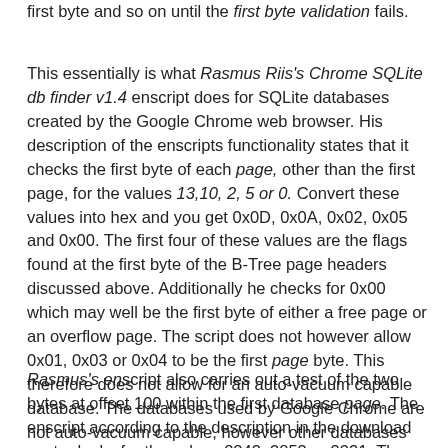first byte and so on until the first byte validation fails.
This essentially is what Rasmus Riis's Chrome SQLite db finder v1.4 enscript does for SQLite databases created by the Google Chrome web browser. His description of the enscripts functionality states that it checks the first byte of each page, other than the first page, for the values 13,10, 2, 5 or 0. Convert these values into hex and you get 0x0D, 0x0A, 0x02, 0x05 and 0x00. The first four of these values are the flags found at the first byte of the B-Tree page headers discussed above. Additionally he checks for 0x00 which may well be the first byte of either a free page or an overflow page. The script does not however allow 0x01, 0x03 or 0x04 to be the first page byte. This therefore does not allow for an auto-vacuum capable database. The databases used by Google Chrome are not auto-vacuum capable, however other databases such as the iPhone SMS.db database are.
Rasmus's enscript also carries out a test of the two bytes at offset 100 within the first database page. The enscript according to the description in the download center looks for the values 2243, 3853 or 3331. The coding however shows that it checks for 2243 or 3853 or 3331, though this relies...